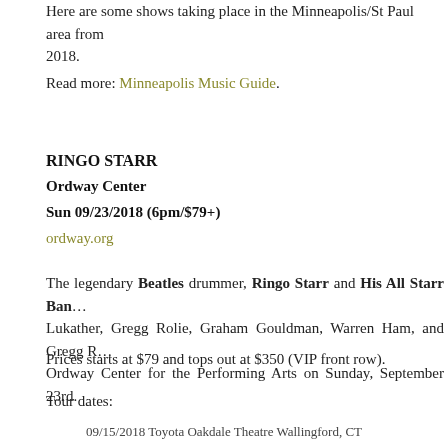Here are some shows taking place in the Minneapolis/St Paul area from 2018.
Read more: Minneapolis Music Guide.
RINGO STARR
Ordway Center
Sun 09/23/2018 (6pm/$79+)
ordway.org
The legendary Beatles drummer, Ringo Starr and His All Starr Band featuring Steve Lukather, Gregg Rolie, Graham Gouldman, Warren Ham, and Gregg Bissonette will play at the Ordway Center for the Performing Arts on Sunday, September 23rd.
Prices starts at $79 and tops out at $350 (VIP front row).
Tour dates:
09/15/2018 Toyota Oakdale Theatre Wallingford, CT